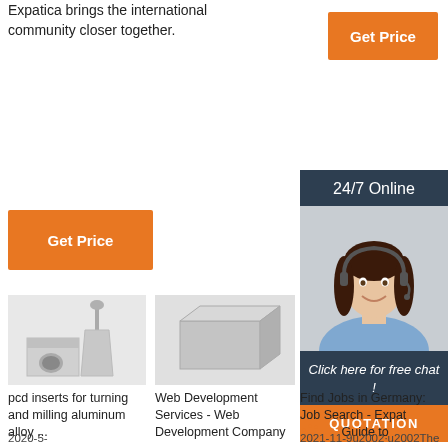Expatica brings the international community closer together.
[Figure (other): Orange 'Get Price' button (top right)]
[Figure (other): Orange 'Get Price' button (left)]
[Figure (other): Ad panel: 24/7 Online, agent photo, 'Click here for free chat!', QUOTATION button]
[Figure (photo): Photo of toilet brush and holder set (pcd inserts product image)]
pcd inserts for turning and milling aluminum alloy ...
2020-5-
[Figure (photo): Photo of a gray rectangular box (Web Development Services product image)]
Web Development Services - Web Development Company
Find Jobs in Germany: Job Search - Expat Guide to
2021-11-9u2002·u2002The